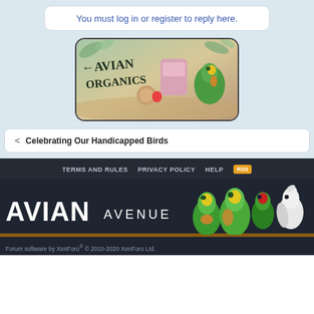You must log in or register to reply here.
[Figure (illustration): Avian Organics advertisement banner showing the brand name with parrots and organic foods]
< Celebrating Our Handicapped Birds
TERMS AND RULES   PRIVACY POLICY   HELP   [RSS]
[Figure (logo): Avian Avenue forum logo with parrots]
Forum software by XenForo® © 2010-2020 XenForo Ltd.